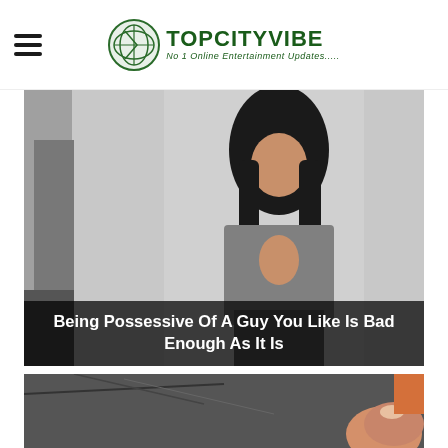TOPCITYVIBE - No 1 Online Entertainment Updates.....
[Figure (photo): Young woman standing in a mirror selfie wearing a grey cropped jacket and grey cargo pants with a cutout bodysuit. Caption overlay reads: Being Possessive Of A Guy You Like Is Bad Enough As It Is]
Being Possessive Of A Guy You Like Is Bad Enough As It Is
[Figure (photo): Close-up photo of a finger/thumb near a dark surface, partial view.]